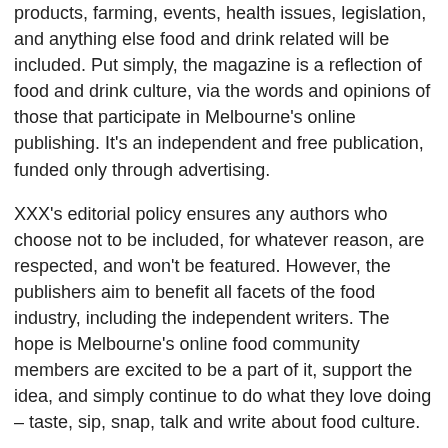products, farming, events, health issues, legislation, and anything else food and drink related will be included. Put simply, the magazine is a reflection of food and drink culture, via the words and opinions of those that participate in Melbourne's online publishing. It's an independent and free publication, funded only through advertising.
XXX's editorial policy ensures any authors who choose not to be included, for whatever reason, are respected, and won't be featured. However, the publishers aim to benefit all facets of the food industry, including the independent writers. The hope is Melbourne's online food community members are excited to be a part of it, support the idea, and simply continue to do what they love doing – taste, sip, snap, talk and write about food culture.
Sincerely
(etc etc)